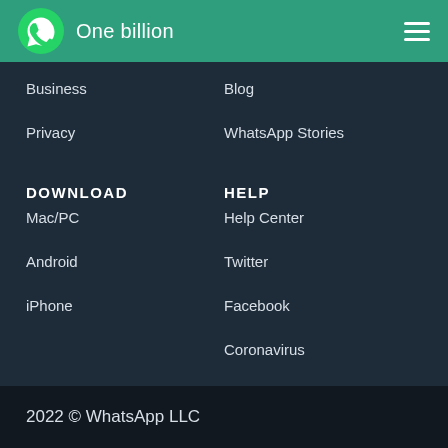One billion
Business
Blog
Privacy
WhatsApp Stories
DOWNLOAD
HELP
Mac/PC
Help Center
Android
Twitter
iPhone
Facebook
Coronavirus
2022 © WhatsApp LLC